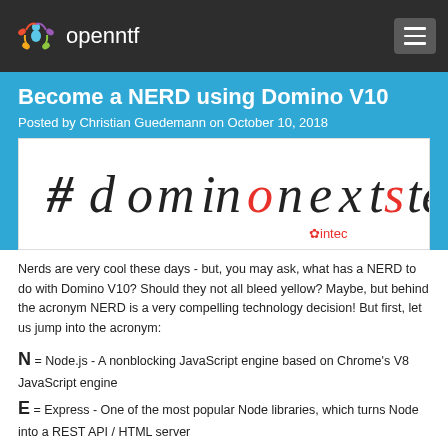openntf
Become a NERD using Domino V10
Posted by Christian Guedemann on October 10, 2018
[Figure (logo): #dominonextstep intec banner logo]
Nerds are very cool these days - but, you may ask, what has a NERD to do with Domino V10? Should they not all bleed yellow? Maybe, but behind the acronym NERD is a very compelling technology decision! But first, let us jump into the acronym:
N = Node.js - A nonblocking JavaScript engine based on Chrome's V8 JavaScript engine
E = Express - One of the most popular Node libraries, which turns Node into a REST API / HTML server
R = React (or, as I prefer, R = Really Cool User Interface) - React is a client JavaScript framework to build a brilliant user interface